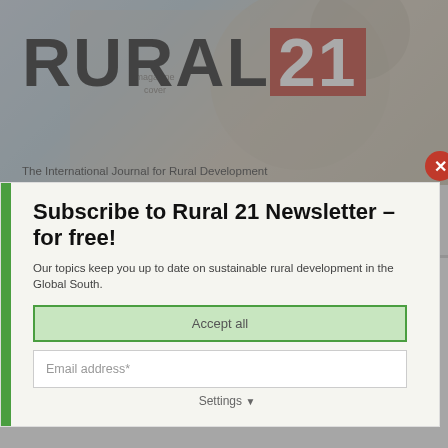[Figure (screenshot): Background website screenshot showing RURAL 21 journal homepage with header image]
RURAL 21
The International Journal for Rural Development
[Figure (screenshot): Modal newsletter subscription popup overlaying the website, with cookie consent overlay. Contains subscribe heading, description text, email input, Accept all button, and Settings option.]
Subscribe to Rural 21 Newsletter – for free!
Our topics keep you up to date on sustainable rural development in the Global South.
cookies at any time.
Data protection statement.
Accept all
Email address*
Settings
23 August-1 September - online
World Water Week 2022